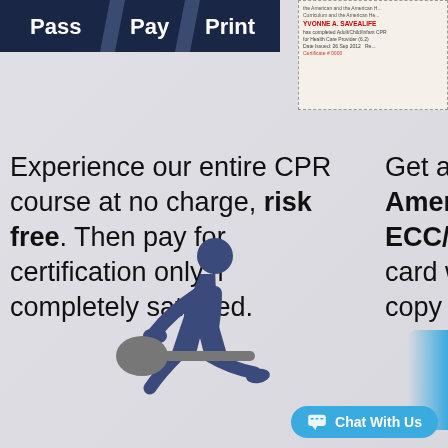[Figure (logo): Pass/Pay/Print logo banner with dark navy diagonal stripe design]
[Figure (photo): CPR certification card from American Heart Association/ECC, issued 26 Sep 2012, partially visible]
Experience our entire CPR course at no charge, risk free. Then pay for certification only if completely satisfied.
Get an in... America... ECC/ILC... card with... copy at n...
[Figure (illustration): Dark blue icon illustration of a person performing CPR chest compressions on a patient on the ground]
[Figure (other): Chat With Us button widget, blue rounded rectangle with chat bubble icon]